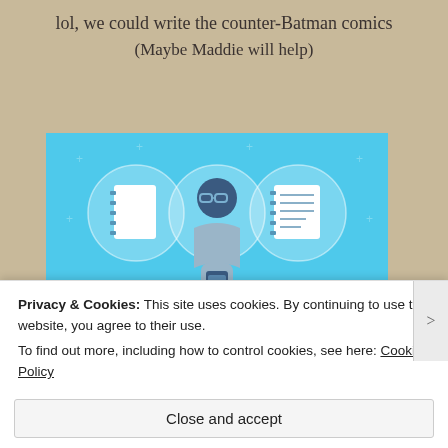lol, we could write the counter-Batman comics
(Maybe Maddie will help)
[Figure (illustration): Day One journaling app advertisement on light blue background. Shows a cartoon figure of a person looking at a phone, flanked by two circular icons showing notebooks. Below reads 'DAY ONE' and 'The only journaling app you'll ever need.']
Privacy & Cookies: This site uses cookies. By continuing to use this website, you agree to their use.
To find out more, including how to control cookies, see here: Cookie Policy
Close and accept